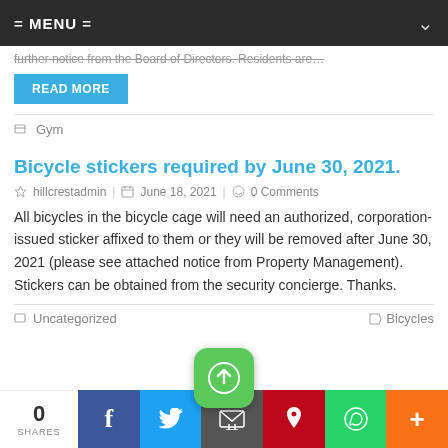= MENU =
further notice from the Board of Directors. Residents are…
READ MORE
Gym
Bicycle stickers required by June 30, 2021.
hillcrestadmin | June 18, 2021 | 0 Comments
All bicycles in the bicycle cage will need an authorized, corporation-issued sticker affixed to them or they will be removed after June 30, 2021 (please see attached notice from Property Management). Stickers can be obtained from the security concierge. Thanks.
Uncategorized  Bicycles
0 SHARES